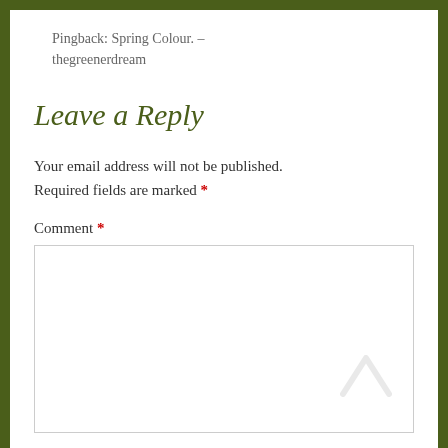Pingback: Spring Colour. – thegreenerdream
Leave a Reply
Your email address will not be published. Required fields are marked *
Comment *